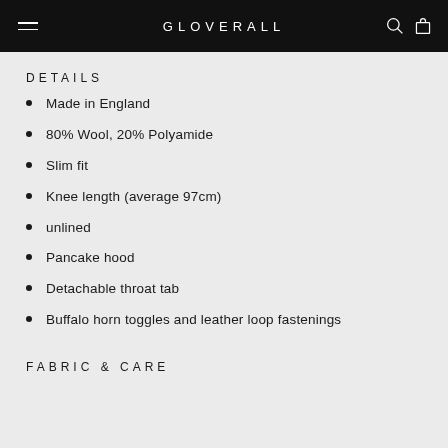GLOVERALL
DETAILS
Made in England
80% Wool, 20% Polyamide
Slim fit
Knee length (average 97cm)
unlined
Pancake hood
Detachable throat tab
Buffalo horn toggles and leather loop fastenings
FABRIC & CARE